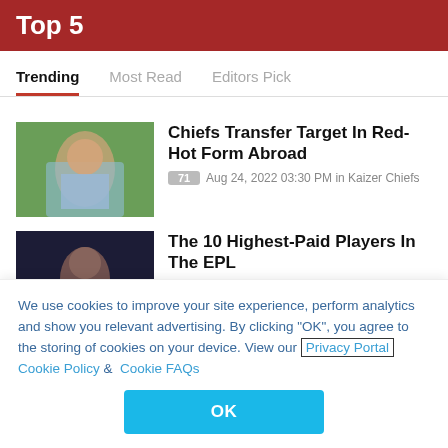Top 5
Trending   Most Read   Editors Pick
[Figure (photo): Soccer player in light blue jersey running]
Chiefs Transfer Target In Red-Hot Form Abroad
71  Aug 24, 2022 03:30 PM in Kaizer Chiefs
[Figure (photo): Soccer player in dark red jersey portrait]
The 10 Highest-Paid Players In The EPL
We use cookies to improve your site experience, perform analytics and show you relevant advertising. By clicking "OK", you agree to the storing of cookies on your device. View our Privacy Portal  Cookie Policy &  Cookie FAQs